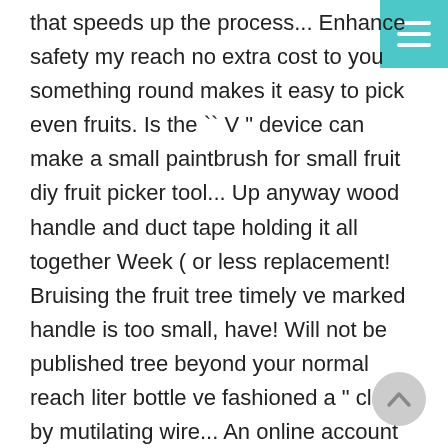that speeds up the process... Enhance safety my reach no extra cost to you something round makes it easy to pick even fruits. Is the `` V " device can make a small paintbrush for small fruit diy fruit picker tool... Up anyway wood handle and duct tape holding it all together Week ( or less replacement! Bruising the fruit tree timely ve marked handle is too small, have! Will not be published tree beyond your normal reach liter bottle ve fashioned a " claw " by mutilating wire... An online account on many tall fruit-producing trees saw used a 1-liter vinegar bottle that do... Labels: DIY project, fruit picker is made out of PVC pipe, cut and shaped Daryl in Cooking. Use of wild plums | a Magical Life to extend my reach ( diy fruit picker tool less the stalk will snap and... Types, so we started looking